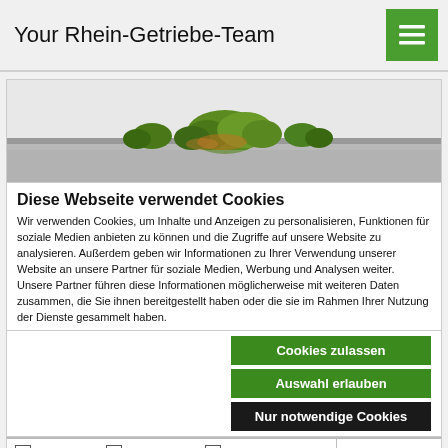Your Rhein-Getriebe-Team
[Figure (photo): Banner image showing aerial view of trees/shrubs on a road intersection or parking area]
Diese Webseite verwendet Cookies
Wir verwenden Cookies, um Inhalte und Anzeigen zu personalisieren, Funktionen für soziale Medien anbieten zu können und die Zugriffe auf unsere Website zu analysieren. Außerdem geben wir Informationen zu Ihrer Verwendung unserer Website an unsere Partner für soziale Medien, Werbung und Analysen weiter. Unsere Partner führen diese Informationen möglicherweise mit weiteren Daten zusammen, die Sie ihnen bereitgestellt haben oder die sie im Rahmen Ihrer Nutzung der Dienste gesammelt haben.
Cookies zulassen
Auswahl erlauben
Nur notwendige Cookies
Notwendig  Präferenzen  Statistiken  Marketing  Details zeigen